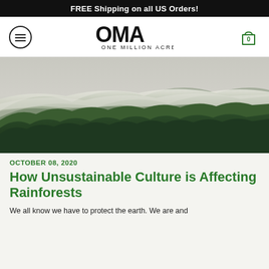FREE Shipping on all US Orders!
[Figure (logo): OMA One Million Acres logo with hamburger menu icon and shopping cart with 0 items]
[Figure (photo): Misty forest landscape with fog drifting over green treetops on rolling hills, black and white tones in upper sky transitioning to deep green trees below]
OCTOBER 08, 2020
How Unsustainable Culture is Affecting Rainforests
We all know we have to protect the earth. We are and